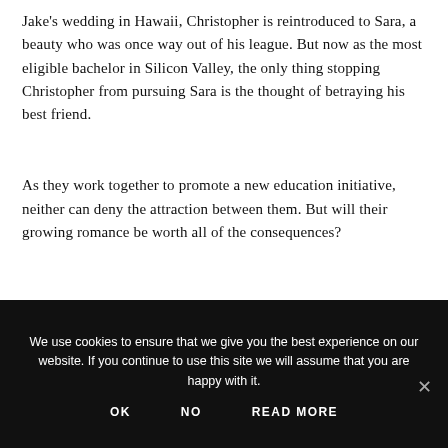Jake's wedding in Hawaii, Christopher is reintroduced to Sara, a beauty who was once way out of his league. But now as the most eligible bachelor in Silicon Valley, the only thing stopping Christopher from pursuing Sara is the thought of betraying his best friend.
As they work together to promote a new education initiative, neither can deny the attraction between them. But will their growing romance be worth all of the consequences?
We use cookies to ensure that we give you the best experience on our website. If you continue to use this site we will assume that you are happy with it.
OK
NO
READ MORE